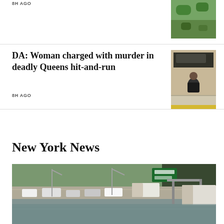8H AGO
[Figure (photo): Aerial or outdoor green landscape photo]
DA: Woman charged with murder in deadly Queens hit-and-run
8H AGO
[Figure (photo): Person crouching on sidewalk outside a store]
New York News
[Figure (photo): Flooded highway with cars stranded in floodwater, highway signs visible]